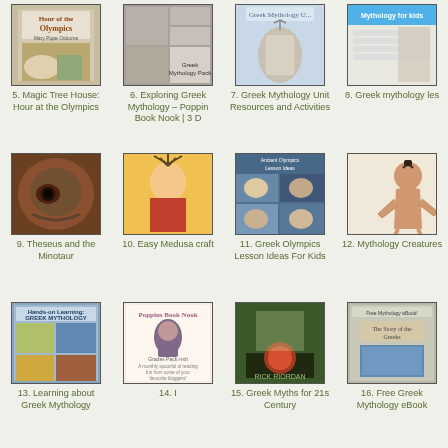[Figure (photo): Book cover: Hour of the Olympics, Magic Tree House]
5. Magic Tree House: Hour at the Olympics
[Figure (photo): Collage for Exploring Greek Mythology - Poppin Book Nook 3D]
6. Exploring Greek Mythology – Poppin Book Nook | 3 D
[Figure (photo): Statue of Poseidon for Greek Mythology Unit Resources]
7. Greek Mythology Unit Resources and Activities
[Figure (photo): Mythology for kids worksheet page]
8. Greek mythology les
[Figure (photo): Close-up of a minotaur creature eye - Theseus and the Minotaur]
9. Theseus and the Minotaur
[Figure (photo): Child with Medusa hair craft made of pencils]
10. Easy Medusa craft
[Figure (photo): Collage of children in costumes for Greek Olympics Lesson Ideas]
11. Greek Olympics Lesson Ideas For Kids
[Figure (illustration): Cartoon illustration of Greek mythology creature]
12. Mythology Creatures
[Figure (photo): Hands-on Learning: Greek Mythology book cover collage]
13. Learning about Greek Mythology
[Figure (photo): Poppins Book Nook Grade Pack promotional image]
14. I
[Figure (photo): Rick Riordan Greek Myths for 21st Century book]
15. Greek Myths for 21s Century
[Figure (photo): Free Greek Mythology eBook cover]
16. Free Greek Mythology eBook